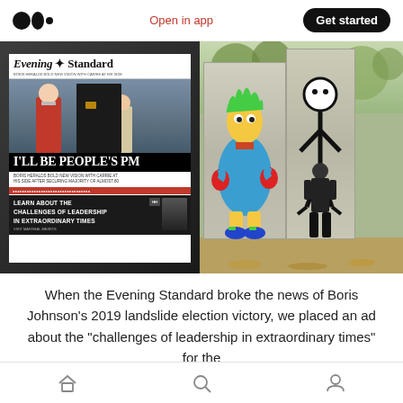Medium logo | Open in app | Get started
[Figure (photo): Evening Standard newspaper front page showing Boris Johnson with headline 'I'LL BE PEOPLE'S PM' and an advertisement 'Learn about the challenges of leadership in extraordinary times']
[Figure (photo): Street art photo showing colorful cartoon figure (Simpson-like character) and a white stick figure painted on large concrete panels, with a person standing in front]
When the Evening Standard broke the news of Boris Johnson's 2019 landslide election victory, we placed an ad about the "challenges of leadership in extraordinary times" for the
Home | Search | Profile navigation icons